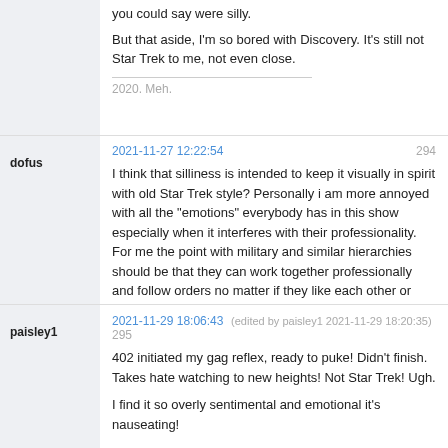you could say were silly.

But that aside, I'm so bored with Discovery.  It's still not Star Trek to me, not even close.

2020.  Meh.
dofus
2021-11-27 12:22:54
294
I think that silliness is intended to keep it visually in spirit with old Star Trek style? Personally i am more annoyed with all the "emotions" everybody has in this show especially when it interferes with their professionality. For me the point with military and similar hierarchies should be that they can work together professionally and follow orders no matter if they like each other or not, without bickering like children.
paisley1
2021-11-29 18:06:43 (edited by paisley1 2021-11-29 18:20:35)
295
402 initiated my gag reflex, ready to puke!  Didn't finish.  Takes hate watching to new heights!  Not Star Trek!  Ugh.

I find it so overly sentimental and emotional it's nauseating!